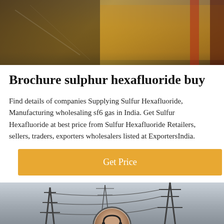[Figure (photo): Top banner photo showing warehouse or industrial setting with boxes and equipment, warm amber/brown tones]
Brochure sulphur hexafluoride buy
Find details of companies Supplying Sulfur Hexafluoride, Manufacturing wholesaling sf6 gas in India. Get Sulfur Hexafluoride at best price from Sulfur Hexafluoride Retailers, sellers, traders, exporters wholesalers listed at ExportersIndia.
Get Price
[Figure (photo): Bottom photo showing electrical power transmission towers/pylons against a cloudy sky, grayscale tones. Includes a dark footer bar with a customer service avatar in the center, 'Leave Message' on the left, 'Chat Online' on the right, and an orange arrow circle button on the right.]
Leave Message    Chat Online